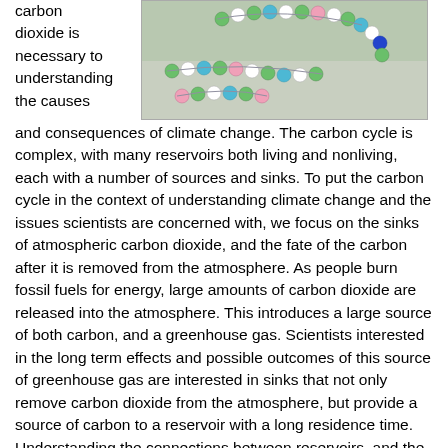carbon dioxide is necessary to understanding the causes
[Figure (photo): A photo of colorful bead strands (green, white, blue, pink beads) arranged on a surface, used as a model for the carbon cycle.]
and consequences of climate change. The carbon cycle is complex, with many reservoirs both living and nonliving, each with a number of sources and sinks. To put the carbon cycle in the context of understanding climate change and the issues scientists are concerned with, we focus on the sinks of atmospheric carbon dioxide, and the fate of the carbon after it is removed from the atmosphere. As people burn fossil fuels for energy, large amounts of carbon dioxide are released into the atmosphere. This introduces a large source of both carbon, and a greenhouse gas. Scientists interested in the long term effects and possible outcomes of this source of greenhouse gas are interested in sinks that not only remove carbon dioxide from the atmosphere, but provide a source of carbon to a reservoir with a long residence time. Understanding the connections between reservoirs, and the interaction between long and short residence times, is very helpful in understanding